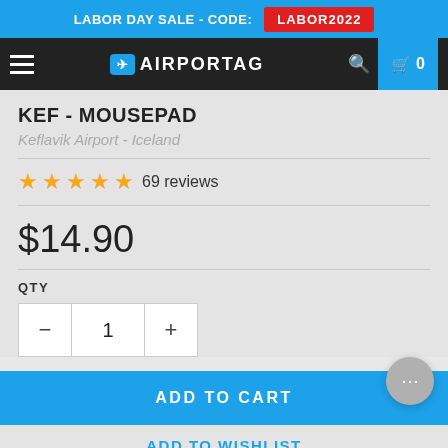LABOR DAY SALE - CODE: LABOR2022
[Figure (screenshot): Airportag navigation bar with hamburger menu, logo, search icon, and cart with 0 items]
KEF - MOUSEPAD
Keflavik Airport - Iceland
★★★★★ 69 reviews
$14.90
QTY
1
ADD TO CART
ADD TO WISHLIST